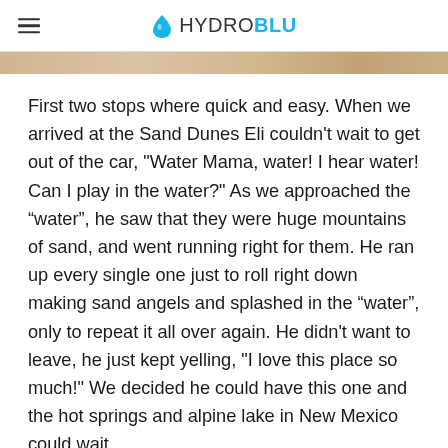HYDROBLU
[Figure (photo): Partial image strip showing sandy/outdoor scene visible at top of content area]
First two stops where quick and easy. When we arrived at the Sand Dunes Eli couldn't wait to get out of the car, "Water Mama, water! I hear water! Can I play in the water?" As we approached the “water”, he saw that they were huge mountains of sand, and went running right for them. He ran up every single one just to roll right down making sand angels and splashed in the “water”, only to repeat it all over again. He didn't want to leave, he just kept yelling, "I love this place so much!" We decided he could have this one and the hot springs and alpine lake in New Mexico could wait.